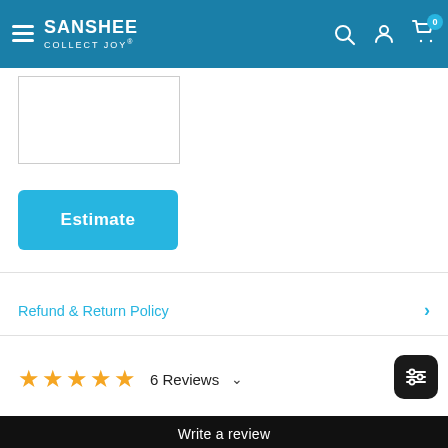SANSHEE COLLECT JOY — Navigation header with search, account, and cart icons
[Figure (screenshot): Partial product image placeholder box (white rectangle with border)]
Estimate
Refund & Return Policy
6 Reviews
Write a review
SUBSCRIBE NOW!